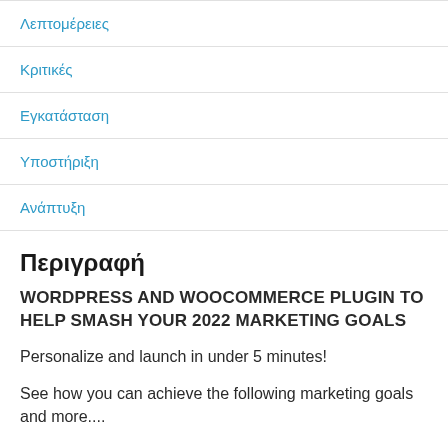Λεπτομέρειες
Κριτικές
Εγκατάσταση
Υποστήριξη
Ανάπτυξη
Περιγραφή
WORDPRESS AND WOOCOMMERCE PLUGIN TO HELP SMASH YOUR 2022 MARKETING GOALS
Personalize and launch in under 5 minutes!
See how you can achieve the following marketing goals and more....